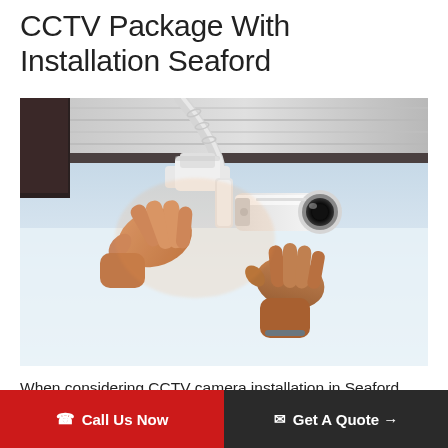CCTV Package With Installation Seaford
[Figure (photo): A person installing a white CCTV bullet camera on a ceiling, viewed from below. Hands are positioning the camera on its mount, with a corrugated conduit pipe visible above.]
When considering CCTV camera installation in Seaford, there are a number of important issues to consider:
☎ Call Us Now  ✉ Get A Quote →